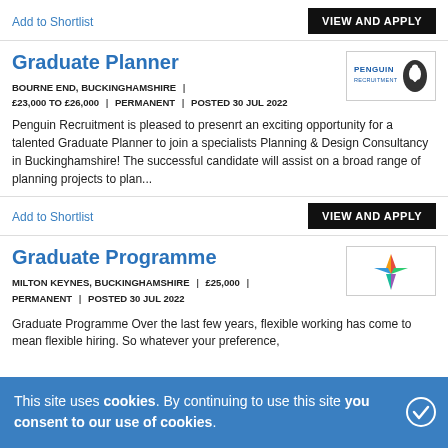Add to Shortlist
VIEW AND APPLY
Graduate Planner
BOURNE END, BUCKINGHAMSHIRE | £23,000 TO £26,000 | PERMANENT | POSTED 30 JUL 2022
Penguin Recruitment is pleased to presenrt an exciting opportunity for a talented Graduate Planner to join a specialists Planning & Design Consultancy in Buckinghamshire! The successful candidate will assist on a broad range of planning projects to plan...
Add to Shortlist
VIEW AND APPLY
Graduate Programme
MILTON KEYNES, BUCKINGHAMSHIRE | £25,000 | PERMANENT | POSTED 30 JUL 2022
Graduate Programme Over the last few years, flexible working has come to mean flexible hiring. So whatever your preference, whether you feel more comfortable joining in person...
This site uses cookies. By continuing to use this site you consent to our use of cookies.